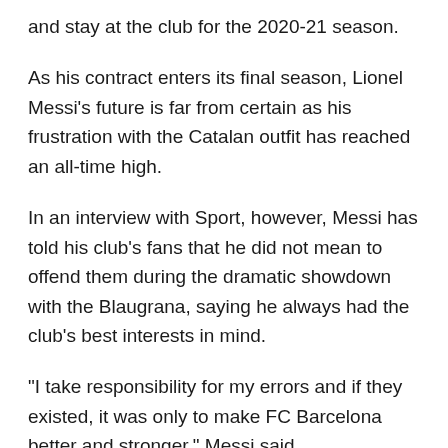and stay at the club for the 2020-21 season.
As his contract enters its final season, Lionel Messi's future is far from certain as his frustration with the Catalan outfit has reached an all-time high.
In an interview with Sport, however, Messi has told his club's fans that he did not mean to offend them during the dramatic showdown with the Blaugrana, saying he always had the club's best interests in mind.
“I take responsibility for my errors and if they existed, it was only to make FC Barcelona better and stronger,” Messi said.
“I wanted to send a message to all the socios and fans that follow us. If at any moment, any of them were annoyed by something that I said or did, let there be no doubts that